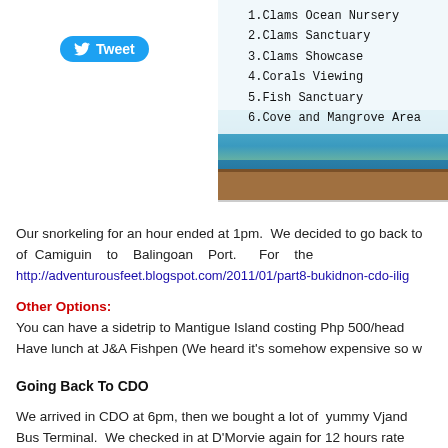[Figure (photo): Sign board listing sanctuary features: 1.Clams Ocean Nursery, 2.Clams Sanctuary, 3.Clams Showcase, 4.Corals Viewing, 5.Fish Sanctuary, 6.Cove and Mangrove Area, with an island/sea background and wooden bar at bottom]
[Figure (other): Twitter Tweet button (blue rounded button with bird icon and 'Tweet' text)]
Our snorkeling for an hour ended at 1pm.  We decided to go back to of Camiguin to Balingoan Port.  For the http://adventurousfeet.blogspot.com/2011/01/part8-bukidnon-cdo-ilig...
Other Options:
You can have a sidetrip to Mantigue Island costing Php 500/head Have lunch at J&A Fishpen (We heard it's somehow expensive so w...
Going Back To CDO
We arrived in CDO at 6pm, then we bought a lot of  yummy Vjand... Bus Terminal.  We checked in at D'Morvie again for 12 hours rate ... day.  We decided to had our dinner at Limketkai Mall to see what's...